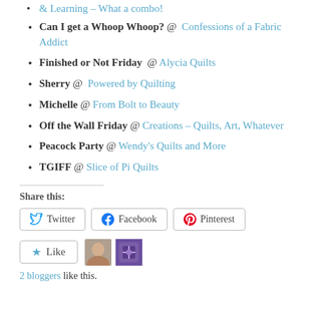& Learning – What a combo! (link)
Can I get a Whoop Whoop? @ Confessions of a Fabric Addict
Finished or Not Friday @ Alycia Quilts
Sherry @ Powered by Quilting
Michelle @ From Bolt to Beauty
Off the Wall Friday @ Creations – Quilts, Art, Whatever
Peacock Party @ Wendy's Quilts and More
TGIFF @ Slice of Pi Quilts
Share this:
Twitter  Facebook  Pinterest
Like  2 bloggers like this.